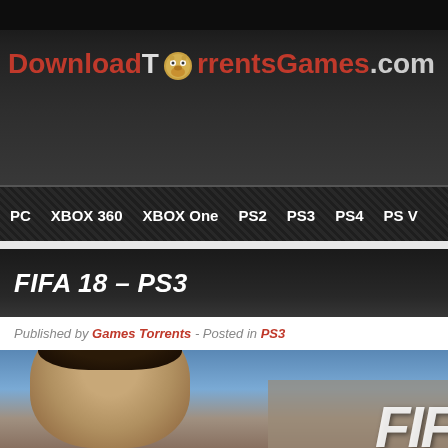DownloadTorrentsGames.com
PC  XBOX 360  XBOX One  PS2  PS3  PS4  PS V
FIFA 18 – PS3
Published by Games Torrents - Posted in PS3
[Figure (photo): FIFA 18 PS3 game cover showing a footballer's face and FIFA logo text]